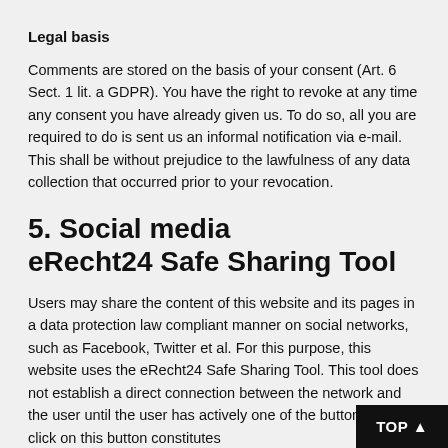Legal basis
Comments are stored on the basis of your consent (Art. 6 Sect. 1 lit. a GDPR). You have the right to revoke at any time any consent you have already given us. To do so, all you are required to do is sent us an informal notification via e-mail. This shall be without prejudice to the lawfulness of any data collection that occurred prior to your revocation.
5. Social media
eRecht24 Safe Sharing Tool
Users may share the content of this website and its pages in a data protection law compliant manner on social networks, such as Facebook, Twitter et al. For this purpose, this website uses the eRecht24 Safe Sharing Tool. This tool does not establish a direct connection between the network and the user until the user has actively one of the buttons. The click on this button constitutes